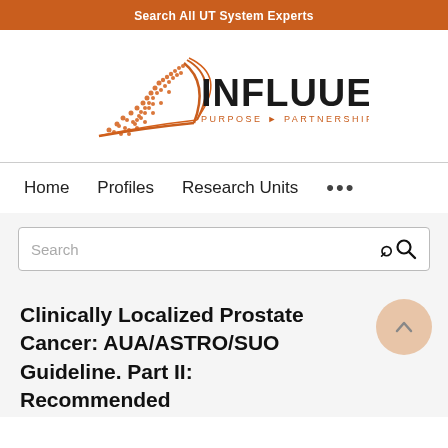Search All UT System Experts
[Figure (logo): Influuent logo with orange geometric bird/triangle shape and text INFLUUENT PURPOSE PARTNERSHIP PROGRESS]
Home   Profiles   Research Units   ...
Search
Clinically Localized Prostate Cancer: AUA/ASTRO/SUO Guideline. Part II: Recommended